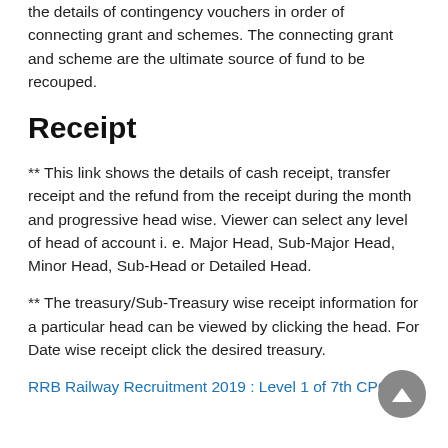the details of contingency vouchers in order of connecting grant and schemes. The connecting grant and scheme are the ultimate source of fund to be recouped.
Receipt
** This link shows the details of cash receipt, transfer receipt and the refund from the receipt during the month and progressive head wise. Viewer can select any level of head of account i. e. Major Head, Sub-Major Head, Minor Head, Sub-Head or Detailed Head.
** The treasury/Sub-Treasury wise receipt information for a particular head can be viewed by clicking the head. For Date wise receipt click the desired treasury.
RRB Railway Recruitment 2019 : Level 1 of 7th CPC Pay